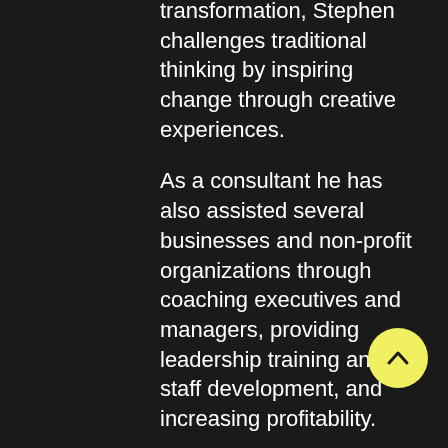transformation, Stephen challenges traditional thinking by inspiring change through creative experiences.
As a consultant he has also assisted several businesses and non-profit organizations through coaching executives and managers, providing leadership training and staff development, and increasing profitability.
Stephen obtained his undergraduate degree in Urban Studies from North Central University, a Masters in Transformational Leadership from Bethel University, and graduated with a Doctorate in Global and Contextual Leadership from